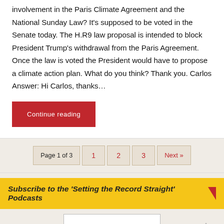involvement in the Paris Climate Agreement and the National Sunday Law? It's supposed to be voted in the Senate today. The H.R9 law proposal is intended to block President Trump's withdrawal from the Paris Agreement. Once the law is voted the President would have to propose a climate action plan. What do you think? Thank you. Carlos Answer: Hi Carlos, thanks…
Continue reading
Page 1 of 3  1  2  3  Next »
Subscribe to the 'Setting the Record Straight' Podcasts
[Figure (logo): Setting the Record Straight podcast logo with red text and triangular graphic]